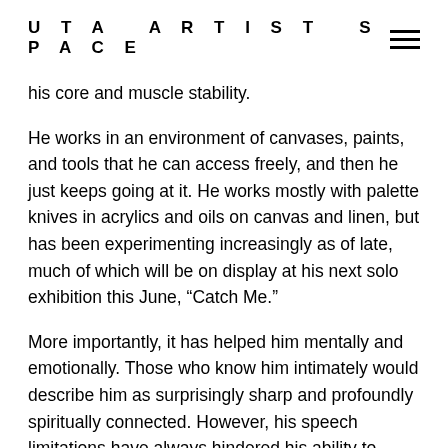UTA ARTIST SPACE
his core and muscle stability.
He works in an environment of canvases, paints, and tools that he can access freely, and then he just keeps going at it. He works mostly with palette knives in acrylics and oils on canvas and linen, but has been experimenting increasingly as of late, much of which will be on display at his next solo exhibition this June, “Catch Me.”
More importantly, it has helped him mentally and emotionally. Those who know him intimately would describe him as surprisingly sharp and profoundly spiritually connected. However, his speech limitations have always hindered his ability to connect in this way with outsiders in terms of external interactions. What’s